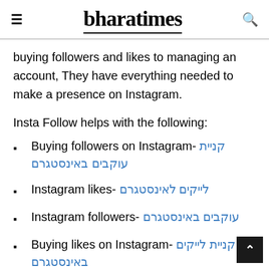bharatimes
buying followers and likes to managing an account, They have everything needed to make a presence on Instagram.
Insta Follow helps with the following:
Buying followers on Instagram- קניית עוקבים באינסטגרם
Instagram likes- לייקים לאינסטגרם
Instagram followers- עוקבים באינסטגרם
Buying likes on Instagram- קניית לייקים באינסטגרם